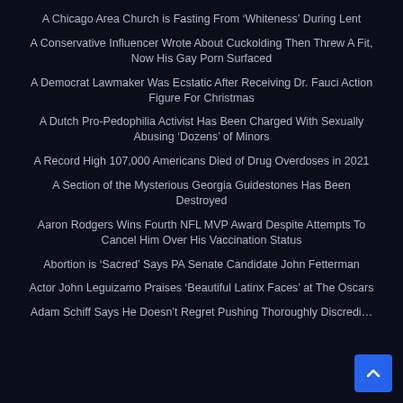A Chicago Area Church is Fasting From ‘Whiteness’ During Lent
A Conservative Influencer Wrote About Cuckolding Then Threw A Fit, Now His Gay Porn Surfaced
A Democrat Lawmaker Was Ecstatic After Receiving Dr. Fauci Action Figure For Christmas
A Dutch Pro-Pedophilia Activist Has Been Charged With Sexually Abusing ‘Dozens’ of Minors
A Record High 107,000 Americans Died of Drug Overdoses in 2021
A Section of the Mysterious Georgia Guidestones Has Been Destroyed
Aaron Rodgers Wins Fourth NFL MVP Award Despite Attempts To Cancel Him Over His Vaccination Status
Abortion is ‘Sacred’ Says PA Senate Candidate John Fetterman
Actor John Leguizamo Praises ‘Beautiful Latinx Faces’ at The Oscars
Adam Schiff Says He Doesn’t Regret Pushing Thoroughly Discredi…